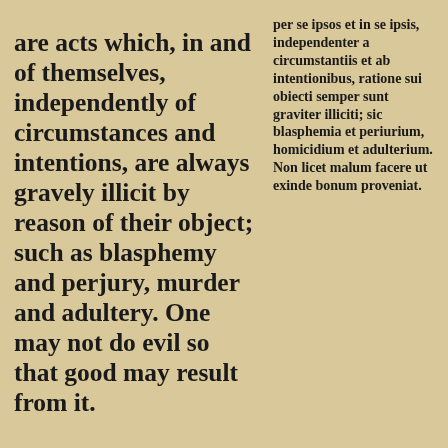are acts which, in and of themselves, independently of circumstances and intentions, are always gravely illicit by reason of their object; such as blasphemy and perjury, murder and adultery. One may not do evil so that good may result from it.
per se ipsos et in se ipsis, independenter a circumstantiis et ab intentionibus, ratione sui obiecti semper sunt graviter illiciti; sic blasphemia et periurium, homicidium et adulterium. Non licet malum facere ut exinde bonum proveniat.
IN BRIEF
Compendium
1757 The object, the intention, and the circumstances make up the three “sources” of the morality of human acts.
1757 Obiectum, intentio et circumstantiae tres constituunt « fontes » moralitatis actuum humanorum.